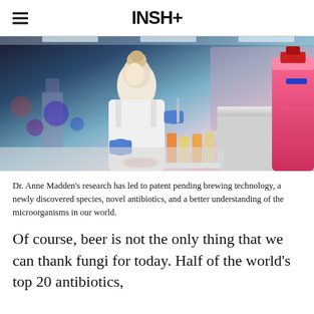INSH+
[Figure (photo): A female scientist with blonde hair in a white lab coat and blue gloves working at a laboratory bench with colorful sample bottles and lab equipment]
Dr. Anne Madden's research has led to patent pending brewing technology, a newly discovered species, novel antibiotics, and a better understanding of the microorganisms in our world.
Of course, beer is not the only thing that we can thank fungi for today. Half of the world's top 20 antibiotics,